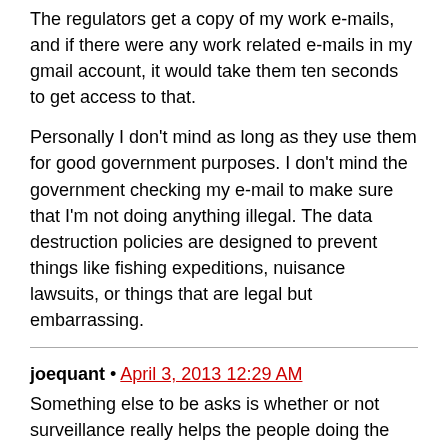The regulators get a copy of my work e-mails, and if there were any work related e-mails in my gmail account, it would take them ten seconds to get access to that.
Personally I don't mind as long as they use them for good government purposes. I don't mind the government checking my e-mail to make sure that I'm not doing anything illegal. The data destruction policies are designed to prevent things like fishing expeditions, nuisance lawsuits, or things that are legal but embarrassing.
joequant • April 3, 2013 12:29 AM
Something else to be asks is whether or not surveillance really helps the people doing the surveillance. I'm thinking in particular about Stasi, which as far as I can tell, didn't do a darn thing to keep East Germany from collapsing.
This matters with respect to China. After some early efforts to regulate strong encryption, the Chinese government basically gave up, and they gave up in large part because it turns out that they ending up believing that strong encryption doesn't pose a threat to the Communist Party, and this is